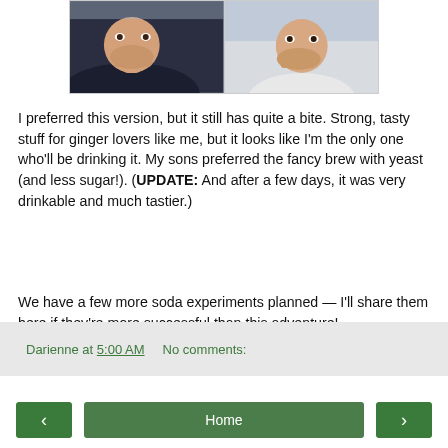[Figure (photo): Two side-by-side photos of boys covering their mouths with their hands]
I preferred this version, but it still has quite a bite. Strong, tasty stuff for ginger lovers like me, but it looks like I'm the only one who'll be drinking it. My sons preferred the fancy brew with yeast (and less sugar!). (UPDATE: And after a few days, it was very drinkable and much tastier.)
We have a few more soda experiments planned — I'll share them here if they're more successful than this adventure!
Darienne at 5:00 AM    No comments:
‹   Home   ›   View web version